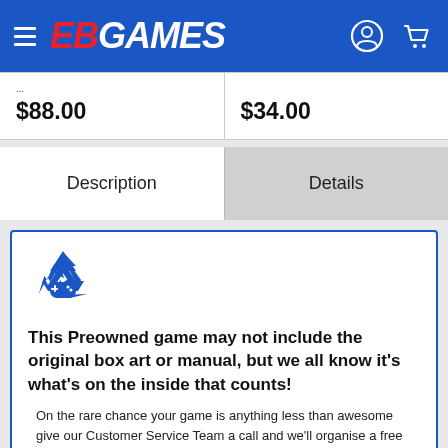EB GAMES
|  |  |
| --- | --- |
| $88.00 | $34.00 |
Description | Details
[Figure (logo): EB Games preowned recycling icon with game controller]
This Preowned game may not include the original box art or manual, but we all know it's what's on the inside that counts!
On the rare chance your game is anything less than awesome give our Customer Service Team a call and we'll organise a free